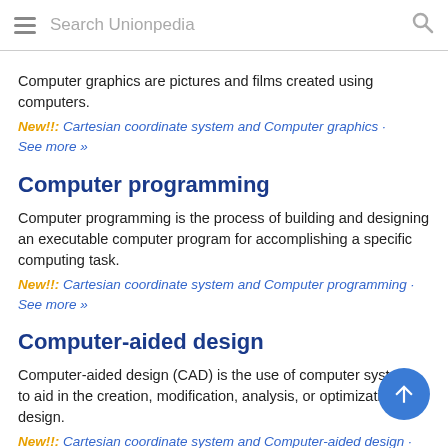Search Unionpedia
Computer graphics are pictures and films created using computers.
New!!: Cartesian coordinate system and Computer graphics · See more »
Computer programming
Computer programming is the process of building and designing an executable computer program for accomplishing a specific computing task.
New!!: Cartesian coordinate system and Computer programming · See more »
Computer-aided design
Computer-aided design (CAD) is the use of computer systems to aid in the creation, modification, analysis, or optimization of a design.
New!!: Cartesian coordinate system and Computer-aided design ·